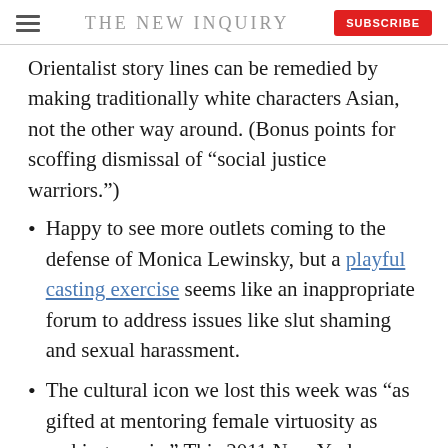THE NEW INQUIRY
Orientalist story lines can be remedied by making traditionally white characters Asian, not the other way around. (Bonus points for scoffing dismissal of “social justice warriors.”)
Happy to see more outlets coming to the defense of Monica Lewinsky, but a playful casting exercise seems like an inappropriate forum to address issues like slut shaming and sexual harassment.
The cultural icon we lost this week was “as gifted at mentoring female virtuosity as making music.” This 2011 New York Magazine profile of Misty Copeland is worth revisiting.